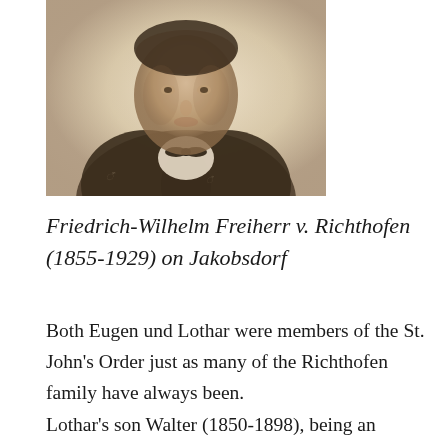[Figure (photo): Sepia-toned portrait photograph of Friedrich-Wilhelm Freiherr v. Richthofen, a man in formal attire with a bow tie, shown from roughly the chest up against a light background.]
Friedrich-Wilhelm Freiherr v. Richthofen (1855-1929) on Jakobsdorf
Both Eugen und Lothar were members of the St. John's Order just as many of the Richthofen family have always been. Lothar's son Walter (1850-1898), being an entrepreneurial pioneer, was an honorary citizen in Denver, Colorado/USA, where he built the